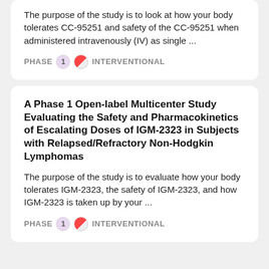The purpose of the study is to look at how your body tolerates CC-95251 and safety of the CC-95251 when administered intravenously (IV) as single ...
PHASE 1 INTERVENTIONAL
A Phase 1 Open-label Multicenter Study Evaluating the Safety and Pharmacokinetics of Escalating Doses of IGM-2323 in Subjects with Relapsed/Refractory Non-Hodgkin Lymphomas
The purpose of the study is to evaluate how your body tolerates IGM-2323, the safety of IGM-2323, and how IGM-2323 is taken up by your ...
PHASE 1 INTERVENTIONAL